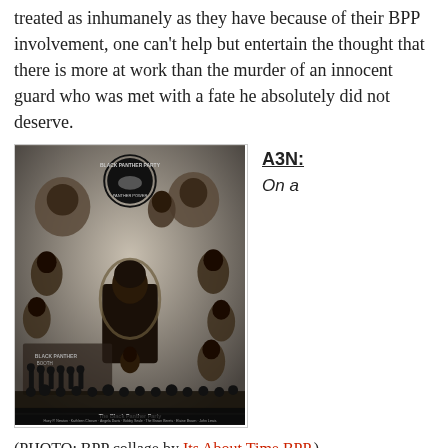treated as inhumanely as they have because of their BPP involvement, one can't help but entertain the thought that there is more at work than the murder of an innocent guard who was met with a fate he absolutely did not deserve.
[Figure (photo): Black and white collage poster of Black Panther Party members and leaders, with Black Panther Party logo at top center, central figure seated in wicker chair, surrounded by portraits and scene photos of members. Caption reads 'The Black Panther Party'.]
A3N:
On a
(PHOTO: BPP collage by Its About Time BPP.)